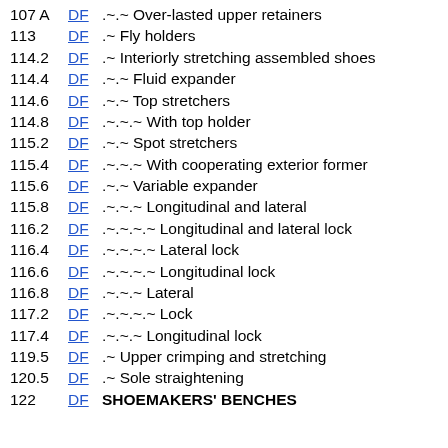107 A  DF  .~.~ Over-lasted upper retainers
113  DF  .~ Fly holders
114.2  DF  .~ Interiorly stretching assembled shoes
114.4  DF  .~.~ Fluid expander
114.6  DF  .~.~ Top stretchers
114.8  DF  .~.~.~ With top holder
115.2  DF  .~.~ Spot stretchers
115.4  DF  .~.~.~ With cooperating exterior former
115.6  DF  .~.~ Variable expander
115.8  DF  .~.~.~ Longitudinal and lateral
116.2  DF  .~.~.~.~ Longitudinal and lateral lock
116.4  DF  .~.~.~.~ Lateral lock
116.6  DF  .~.~.~.~ Longitudinal lock
116.8  DF  .~.~.~ Lateral
117.2  DF  .~.~.~.~ Lock
117.4  DF  .~.~.~ Longitudinal lock
119.5  DF  .~ Upper crimping and stretching
120.5  DF  .~ Sole straightening
122  DF  SHOEMAKERS' BENCHES